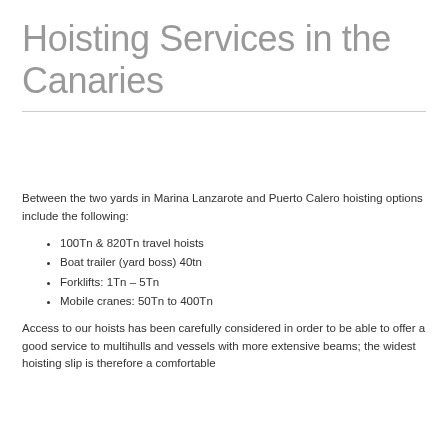Hoisting Services in the Canaries
Between the two yards in Marina Lanzarote and Puerto Calero hoisting options include the following:
100Tn & 820Tn travel hoists
Boat trailer (yard boss) 40tn
Forklifts: 1Tn – 5Tn
Mobile cranes: 50Tn to 400Tn
Access to our hoists has been carefully considered in order to be able to offer a good service to multihulls and vessels with more extensive beams; the widest hoisting slip is therefore a comfortable